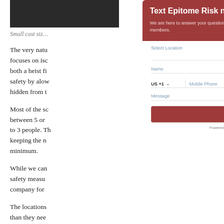[Figure (photo): Dark/black photo thumbnail at top left of background page]
Small cast siz…
The very natu… focuses on isc… both a heist fi… safety by alow… hidden from t…
Most of the sc… between 5 or … to 3 people. Th… keeping the n… minimum.
While we can … safety measu… company for …
The locations … than they nee…
Text Epitome Risk now!
We are here to answer your questions! Send a message to text directly with one of our team members.
Select Location
Name
US +1
Mobile Phone
Message
Send
Powered by Birdeye • Terms and Conditions